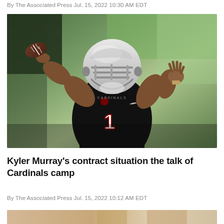By The Associated Press Jul. 15, 2022 10:30 AM EDT
[Figure (photo): Arizona Cardinals quarterback wearing jersey number 1 in black uniform and white helmet, winding up to throw a football at practice camp, green blurred background]
Kyler Murray's contract situation the talk of Cardinals camp
By The Associated Press Jul. 15, 2022 10:12 AM EDT
[Figure (photo): Partial view of another sports photograph, cropped at bottom of page]